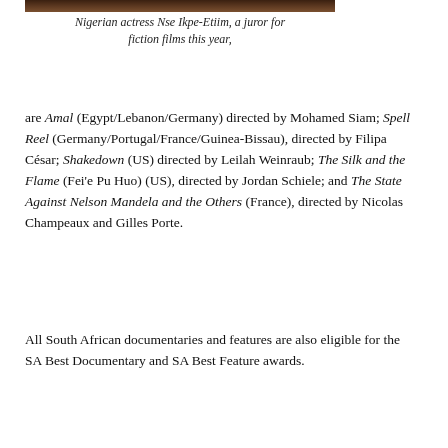[Figure (photo): Partial photo of Nigerian actress Nse Ikpe-Etiim, cropped at top of page]
Nigerian actress Nse Ikpe-Etiim, a juror for fiction films this year,
are Amal (Egypt/Lebanon/Germany) directed by Mohamed Siam; Spell Reel (Germany/Portugal/France/Guinea-Bissau), directed by Filipa César; Shakedown (US) directed by Leilah Weinraub; The Silk and the Flame (Fei'e Pu Huo) (US), directed by Jordan Schiele; and The State Against Nelson Mandela and the Others (France), directed by Nicolas Champeaux and Gilles Porte.
All South African documentaries and features are also eligible for the SA Best Documentary and SA Best Feature awards.